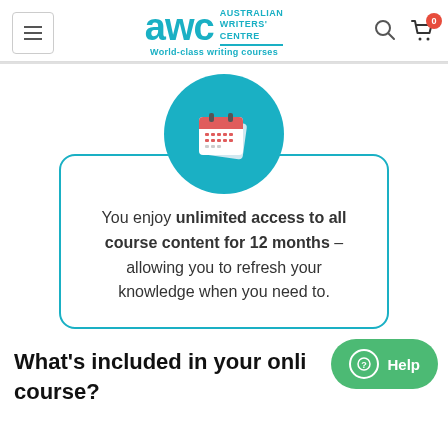[Figure (logo): Australian Writers' Centre (AWC) logo with teal lettering and tagline 'World-class writing courses']
[Figure (infographic): Teal circular icon with a calendar illustration above a rounded-corner card that reads: You enjoy unlimited access to all course content for 12 months – allowing you to refresh your knowledge when you need to.]
You enjoy unlimited access to all course content for 12 months – allowing you to refresh your knowledge when you need to.
What's included in your online course?